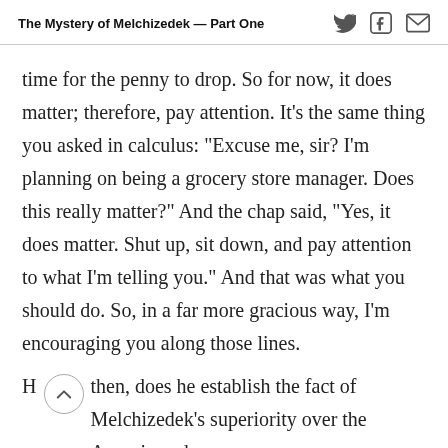The Mystery of Melchizedek — Part One
time for the penny to drop. So for now, it does matter; therefore, pay attention. It's the same thing you asked in calculus: “Excuse me, sir? I’m planning on being a grocery store manager. Does this really matter?” And the chap said, “Yes, it does matter. Shut up, sit down, and pay attention to what I’m telling you.” And that was what you should do. So, in a far more gracious way, I’m encouraging you along those lines.
H then, does he establish the fact of Melchizedek’s superiority over the Aaronic and